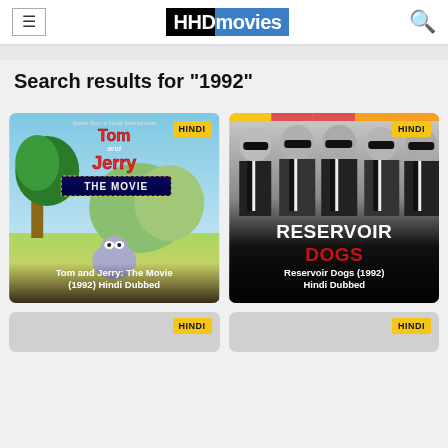HHDmovies
Search results for "1992"
[Figure (screenshot): Movie poster for Tom and Jerry: The Movie (1992) Hindi Dubbed with HINDI badge in top right corner]
Tom and Jerry: The Movie (1992) Hindi Dubbed
[Figure (screenshot): Movie poster for Reservoir Dogs (1992) Hindi Dubbed showing men in suits with HINDI badge]
Reservoir Dogs (1992) Hindi Dubbed
[Figure (screenshot): Partial movie card with HINDI badge]
[Figure (screenshot): Partial movie card with HINDI badge]